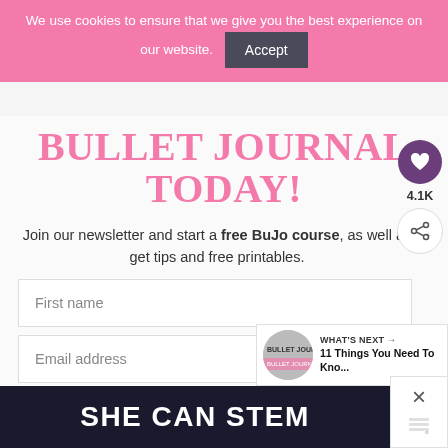We use cookies to ensure that we give you the best experience on our website. Accept
BULLET JOURNAL TODAY!
Join our newsletter and start a free BuJo course, as well as get tips and free printables.
First name
Email address
[Figure (screenshot): SHE CAN STEM banner with white bold text on dark navy background]
4.1K
WHAT'S NEXT → 11 Things You Need To Kno...